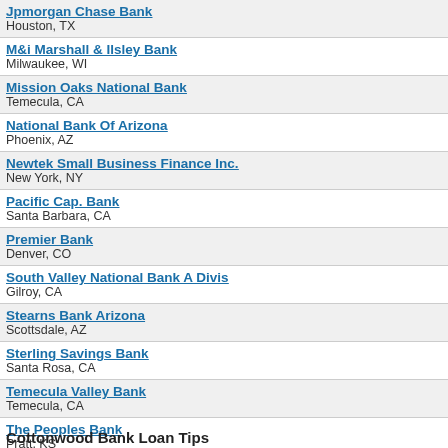Jpmorgan Chase Bank
Houston, TX
M&i Marshall & Ilsley Bank
Milwaukee, WI
Mission Oaks National Bank
Temecula, CA
National Bank Of Arizona
Phoenix, AZ
Newtek Small Business Finance Inc.
New York, NY
Pacific Cap. Bank
Santa Barbara, CA
Premier Bank
Denver, CO
South Valley National Bank A Divis
Gilroy, CA
Stearns Bank Arizona
Scottsdale, AZ
Sterling Savings Bank
Santa Rosa, CA
Temecula Valley Bank
Temecula, CA
The Peoples Bank
Pratt, KS
Wachovia SBA Lending, Inc.
Roseville, CA
Wells Fargo Bank
San Jose, CA
Wells Fargo Bank
Sioux Falls, SD
Cottonwood Bank Loan Tips